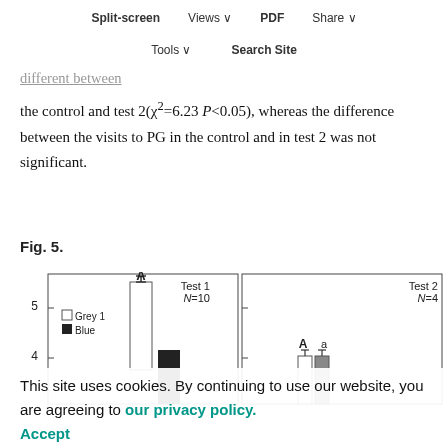control test (χ²=14.15, P<0.05; Fig. 5B, black bars). Here they visited PG most frequently, but no statistical significance was detected in the preference between PG and RG. The visit to RG was significantly different between the control and test 2 (χ²=6.23 P<0.05), whereas the difference between the visits to PG in the control and in test 2 was not significant.
Fig. 5.
[Figure (bar-chart): Bar chart showing Test 1 (N=10) and Test 2 (N=4) data with Grey 1 and Blue bars. Y-axis shows values around 4-5. Statistical annotations A, a, A a visible on bars.]
This site uses cookies. By continuing to use our website, you are agreeing to our privacy policy. Accept